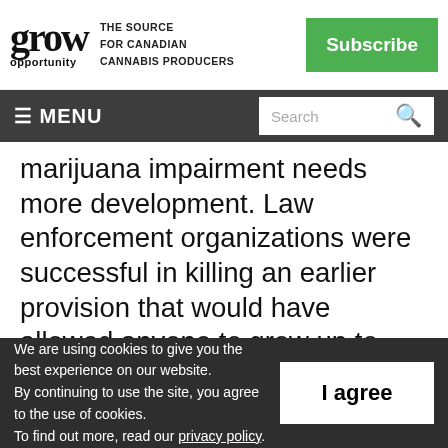grow opportunity — THE SOURCE FOR CANADIAN CANNABIS PRODUCERS
≡ MENU | Search
marijuana impairment needs more development. Law enforcement organizations were successful in killing an earlier provision that would have allowed anyone to grow up to five marijuana plants at home for personal use. Police said they'd have difficulty enforcing
We are using cookies to give you the best experience on our website. By continuing to use the site, you agree to the use of cookies. To find out more, read our privacy policy.